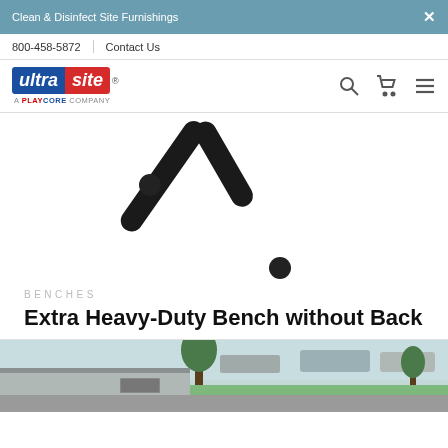Clean & Disinfect Site Furnishings
800-458-5872  |  Contact Us
[Figure (logo): Ultra Site logo - a PlayCore company]
[Figure (photo): Close-up of a black metal bench leg/support component on white background]
BENCHES
Extra Heavy-Duty Bench without Back
[Figure (photo): Outdoor scene showing benches installed near a concrete wall and trees, with cars in background]